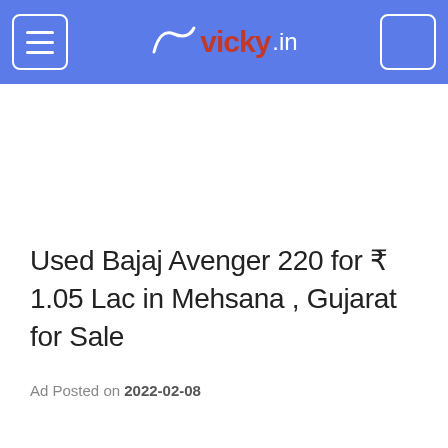vicky.in
Used Bajaj Avenger 220 for ₹ 1.05 Lac in Mehsana , Gujarat for Sale
Ad Posted on 2022-02-08